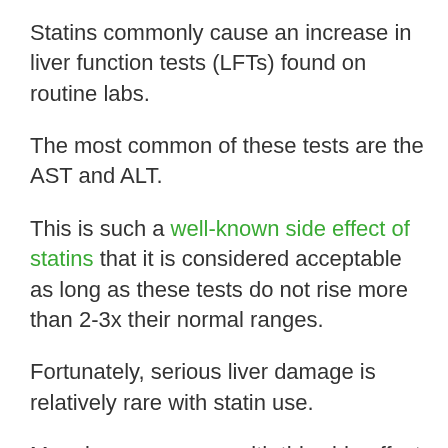Statins commonly cause an increase in liver function tests (LFTs) found on routine labs.
The most common of these tests are the AST and ALT.
This is such a well-known side effect of statins that it is considered acceptable as long as these tests do not rise more than 2-3x their normal ranges.
Fortunately, serious liver damage is relatively rare with statin use.
My primary concern  with this side effect is it has the potential to mask liver function test elevations that could be caused by other potentially dangerous